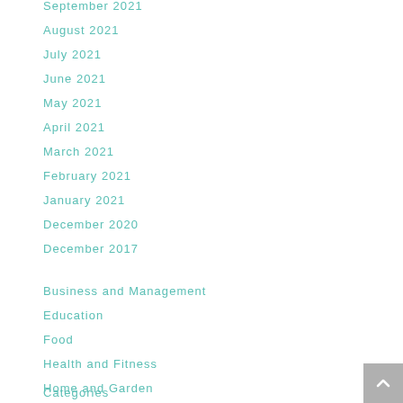September 2021
August 2021
July 2021
June 2021
May 2021
April 2021
March 2021
February 2021
January 2021
December 2020
December 2017
Business and Management
Education
Food
Health and Fitness
Home and Garden
Categories